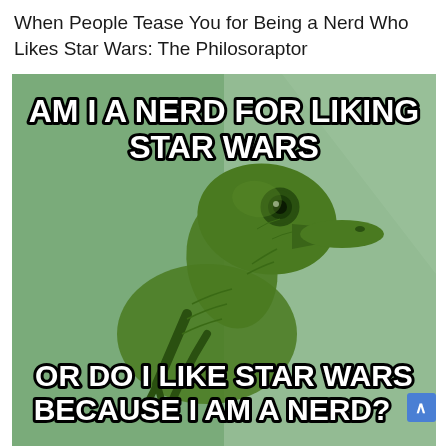When People Tease You for Being a Nerd Who Likes Star Wars: The Philosoraptor
[Figure (illustration): Philosoraptor meme image. Green background with a velociraptor dinosaur in a thinking pose. Top text reads 'AM I A NERD FOR LIKING STAR WARS'. Bottom text reads 'OR DO I LIKE STAR WARS BECAUSE I AM A NERD?' with a blue scroll button overlapping the bottom right.]